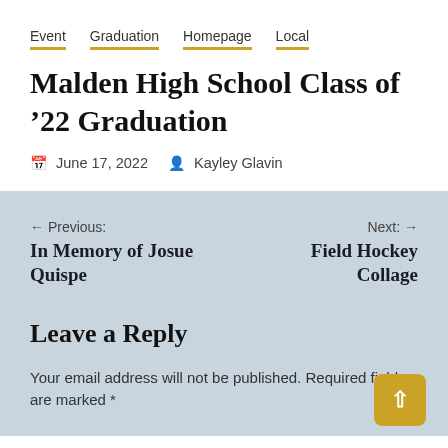Event   Graduation   Homepage   Local
Malden High School Class of '22 Graduation
June 17, 2022   Kayley Glavin
← Previous:
In Memory of Josue Quispe
Next: →
Field Hockey Collage
Leave a Reply
Your email address will not be published. Required fields are marked *